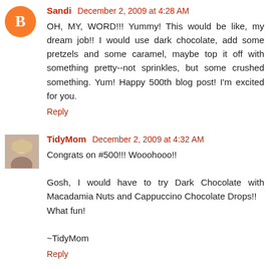Sandi  December 2, 2009 at 4:28 AM
OH, MY, WORD!!! Yummy! This would be like, my dream job!! I would use dark chocolate, add some pretzels and some caramel, maybe top it off with something pretty--not sprinkles, but some crushed something. Yum! Happy 500th blog post! I'm excited for you.
Reply
TidyMom  December 2, 2009 at 4:32 AM
Congrats on #500!!! Wooohooo!!

Gosh, I would have to try Dark Chocolate with Macadamia Nuts and Cappuccino Chocolate Drops!!
What fun!

~TidyMom
Reply
Kim @ Homesteader's Heart  December 2, 2009 at 5:27